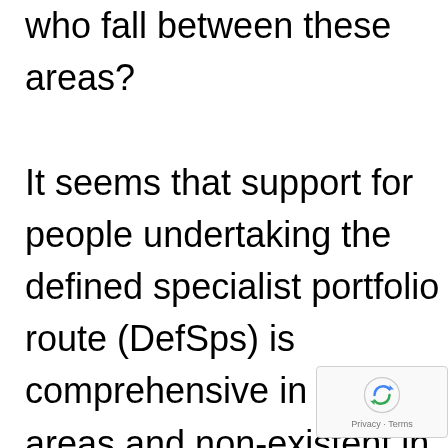who fall between these areas?

It seems that support for people undertaking the defined specialist portfolio route (DefSps) is comprehensive in some areas and non-existent in others. Following